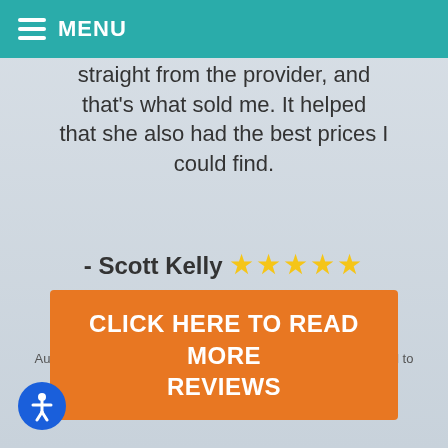MENU
straight from the provider, and that's what sold me. It helped that she also had the best prices I could find.
- Scott Kelly ★★★★★
*The reviews listed are from actual patients of Mt. Harrison Audiology. Individual results may vary. Reviews are not claimed to represent results for everyone.
CLICK HERE TO READ MORE REVIEWS